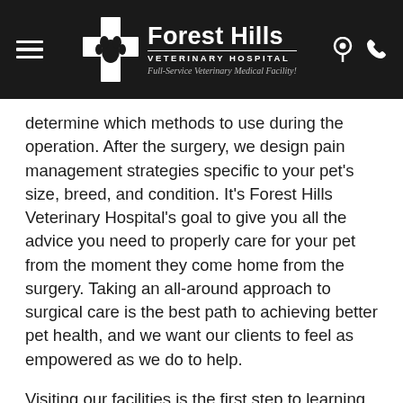Forest Hills Veterinary Hospital — Full-Service Veterinary Medical Facility!
determine which methods to use during the operation. After the surgery, we design pain management strategies specific to your pet's size, breed, and condition. It's Forest Hills Veterinary Hospital's goal to give you all the advice you need to properly care for your pet from the moment they come home from the surgery. Taking an all-around approach to surgical care is the best path to achieving better pet health, and we want our clients to feel as empowered as we do to help.
Visiting our facilities is the first step to learning more about how we manage to stand out. We can answer any questions you may have about the procedure, so you can feel comfortable about how your pet is being treated. From the type of anesthesia used to the